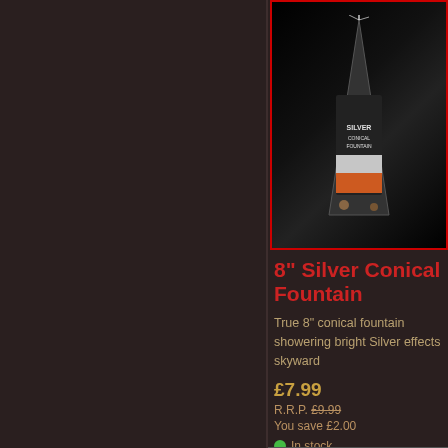[Figure (photo): Product photo of 8 inch Silver Conical Fountain firework in a cone shape with packaging text visible, shown against a black background with red border]
8" Silver Conical Fountain
True 8" conical fountain showering bright Silver effects skyward
£7.99
R.R.P. £9.99
You save £2.00
In stock
★★★★★ (1)
1